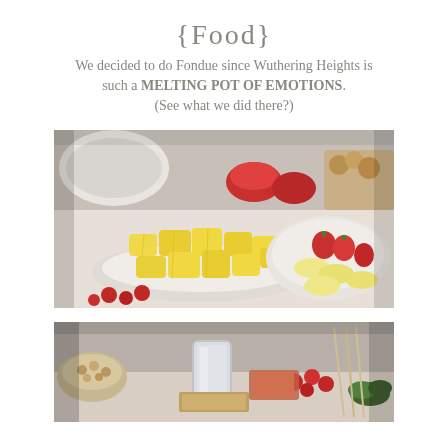{Food}
We decided to do Fondue – since Wuthering Heights is such a MELTING POT OF EMOTIONS. (See what we did there?)
[Figure (photo): A spread of fondue dipping foods on a table: a plate of pineapple chunks in the foreground, a bowl of banana slices and strawberries to the right, red jelly cups in the background, and other bowls of fruit and snacks.]
[Figure (photo): Another view of the fondue food spread showing a metal fondue pot/vessel in the center, bowls of nuts and other snacks, red berries, green herbs, and various other fondue accompaniments on the table.]